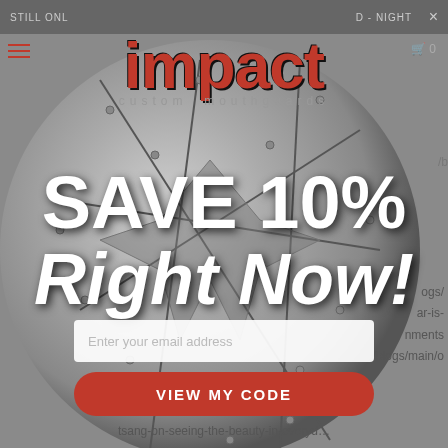STILL ON... D - NIGHT ×
[Figure (illustration): Metallic riveted shield/circle background with bat-wing or star geometric cutout design in gray tones]
impact custom mouthguards
SAVE 10%
Right Now!
Enter your email address
VIEW MY CODE
ogs/ ar-is- nments /blogs/main/o tsang-on-seeing-the-beauty-in-everyd...